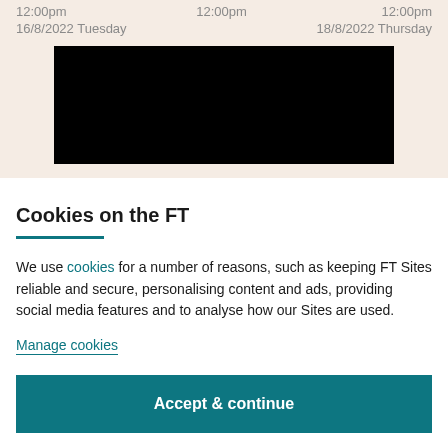12:00pm
16/8/2022 Tuesday
12:00pm
12:00pm
18/8/2022 Thursday
[Figure (other): Black rectangle placeholder image/video area]
Cookies on the FT
We use cookies for a number of reasons, such as keeping FT Sites reliable and secure, personalising content and ads, providing social media features and to analyse how our Sites are used.
Manage cookies
Accept & continue